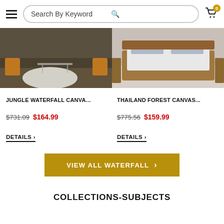Search By Keyword
[Figure (photo): Room scene with white circular rug on dark hardwood floor, orange chairs, and glass coffee table]
JUNGLE WATERFALL CANVA...
$731.09  $164.99
DETAILS >
[Figure (photo): Bedroom scene with low-profile wooden bed frame and gray bedding on light floor]
THAILAND FOREST CANVAS...
$775.56  $159.99
DETAILS >
VIEW ALL WATERFALL >
COLLECTIONS-SUBJECTS